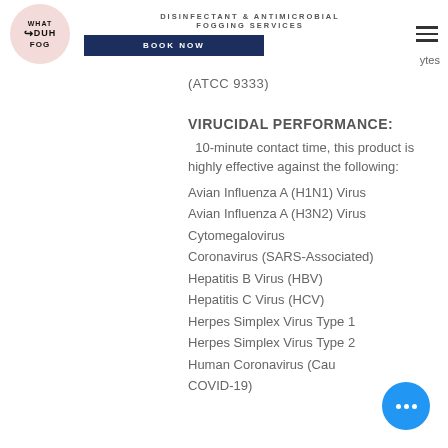[Figure (logo): What Duh Fog circular logo on pink/blush background with stylized arrow]
DISINFECTANT & ANTIMICROBIAL FOGGING SERVICES
BOOK NOW
(ATCC 9333)
VIRUCIDAL PERFORMANCE:
10-minute contact time, this product is highly effective against the following:
Avian Influenza A (H1N1) Virus
Avian Influenza A (H3N2) Virus
Cytomegalovirus
Coronavirus (SARS-Associated)
Hepatitis B Virus (HBV)
Hepatitis C Virus (HCV)
Herpes Simplex Virus Type 1
Herpes Simplex Virus Type 2
Human Coronavirus (Causes COVID-19)